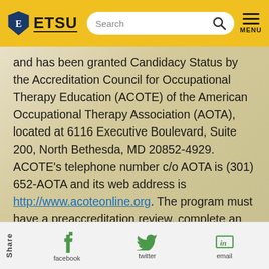ETSU — Search — MENU navigation bar
and has been granted Candidacy Status by the Accreditation Council for Occupational Therapy Education (ACOTE) of the American Occupational Therapy Association (AOTA), located at 6116 Executive Boulevard, Suite 200, North Bethesda, MD 20852-4929. ACOTE's telephone number c/o AOTA is (301) 652-AOTA and its web address is http://www.acoteonline.org. The program must have a preaccreditation review, complete an on-site evaluation, and be granted Accreditation Status before its graduates will be eligible to sit for the national certification examination for the occupational therapist administered by the
Share | facebook | twitter | email